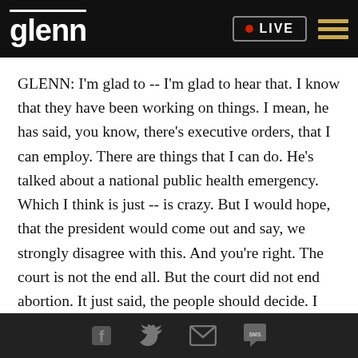glenn  •  LIVE
GLENN: I'm glad to -- I'm glad to hear that. I know that they have been working on things. I mean, he has said, you know, there's executive orders, that I can employ. There are things that I can do. He's talked about a national public health emergency. Which I think is just -- is crazy. But I would hope, that the president would come out and say, we strongly disagree with this. And you're right. The court is not the end all. But the court did not end abortion. It just said, the people should decide. I think that's the best kind of court ruling, on any of it.
Facebook  Twitter  Email  SMS